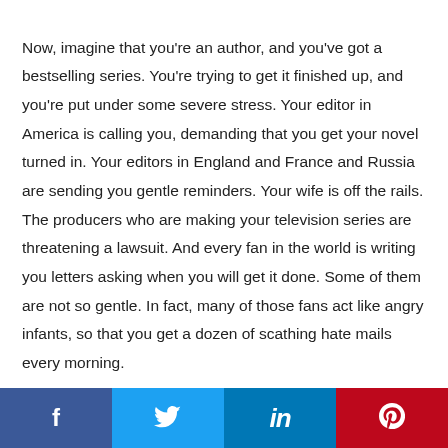Now, imagine that you're an author, and you've got a bestselling series. You're trying to get it finished up, and you're put under some severe stress. Your editor in America is calling you, demanding that you get your novel turned in. Your editors in England and France and Russia are sending you gentle reminders. Your wife is off the rails. The producers who are making your television series are threatening a lawsuit. And every fan in the world is writing you letters asking when you will get it done. Some of them are not so gentle. In fact, many of those fans act like angry infants, so that you get a dozen of scathing hate mails every morning.

As the pressure mounts, your ability to write gets more
f  [Twitter]  in  [Pinterest]